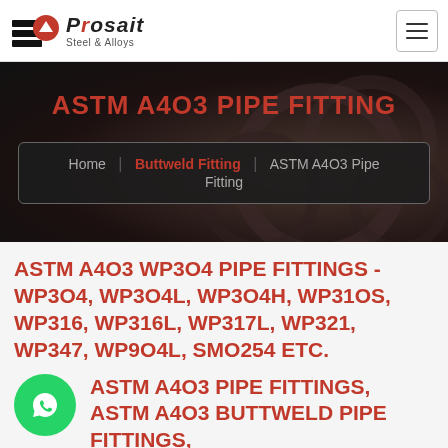Prosaic Steel & Alloys
ASTM A403 PIPE FITTING
Home    Buttweld Fitting    ASTM A403 Pipe Fitting
ASTM A403 WP304 PIPE FITTINGS - WP304, WP304L, WP304H, WP310S, WP316, WP316L, WP317L, WP321, WP347, WP904L, SMO254 ETC.
ASTM A403 PIPE FITTINGS, ASTM A403 BUTTWELD PIPE FITTINGS,